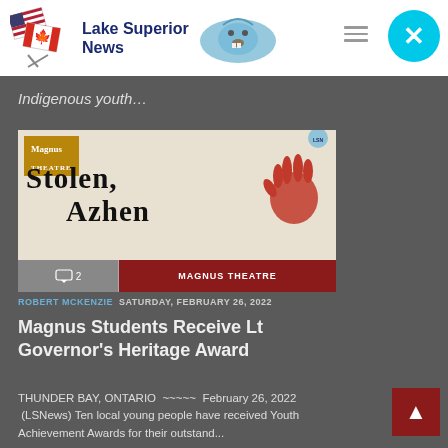Lake Superior News
Indigenous youth…
[Figure (illustration): Magnus Theatre advertisement for 'Stolen, Azhen' showing a red handprint illustration, Magnus Theatre logo badge, and a red Magnus Theatre button bar at bottom.]
ROBERT MCKENZIE  SATURDAY, FEBRUARY 26, 2022
Magnus Students Receive Lt Governor's Heritage Award
THUNDER BAY, ONTARIO  ~~~~~ February 26, 2022  (LSNews) Ten local young people have received Youth Achievement Awards for their outstand...